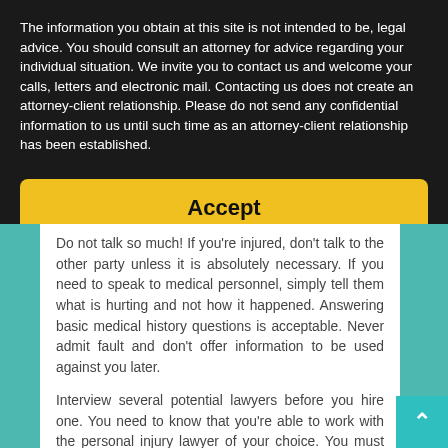The information you obtain at this site is not intended to be, legal advice. You should consult an attorney for advice regarding your individual situation. We invite you to contact us and welcome your calls, letters and electronic mail. Contacting us does not create an attorney-client relationship. Please do not send any confidential information to us until such time as an attorney-client relationship has been established.
Accept
Do not talk so much! If you're injured, don't talk to the other party unless it is absolutely necessary. If you need to speak to medical personnel, simply tell them what is hurting and not how it happened. Answering basic medical history questions is acceptable. Never admit fault and don't offer information to be used against you later.
Interview several potential lawyers before you hire one. You need to know that you're able to work with the personal injury lawyer of your choice. You must also be sure that they think they